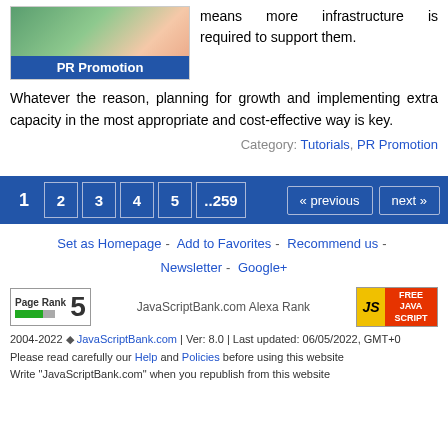[Figure (illustration): PR Promotion image with blue banner label at bottom]
means more infrastructure is required to support them.
Whatever the reason, planning for growth and implementing extra capacity in the most appropriate and cost-effective way is key.
Category: Tutorials, PR Promotion
Pagination bar: 1 2 3 4 5 ..259 « previous next »
Set as Homepage - Add to Favorites - Recommend us - Newsletter - Google+
[Figure (logo): PageRank 5 badge, JavaScriptBank.com Alexa Rank, Free JavaScript logo]
2004-2022 ◆ JavaScriptBank.com | Ver: 8.0 | Last updated: 06/05/2022, GMT+0
Please read carefully our Help and Policies before using this website
Write "JavaScriptBank.com" when you republish from this website